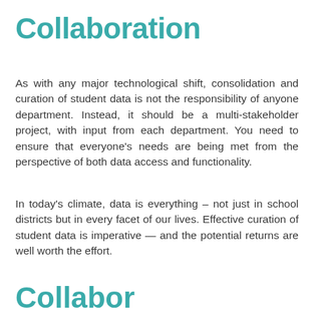Collaboration
As with any major technological shift, consolidation and curation of student data is not the responsibility of anyone department. Instead, it should be a multi-stakeholder project, with input from each department. You need to ensure that everyone's needs are being met from the perspective of both data access and functionality.
In today's climate, data is everything – not just in school districts but in every facet of our lives. Effective curation of student data is imperative — and the potential returns are well worth the effort.
Collaboration